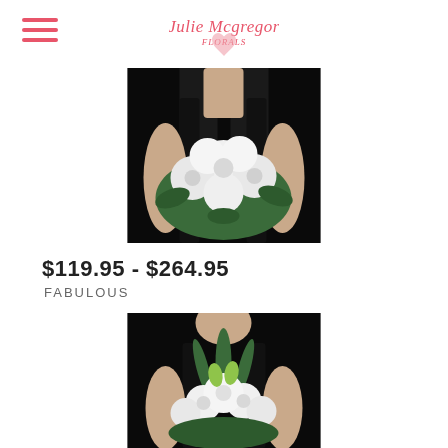Julie Mcgregor Florals — navigation menu
[Figure (photo): Woman in black dress holding a large white floral bouquet with chrysanthemums and greenery against a black background]
$119.95 - $264.95
FABULOUS
[Figure (photo): Woman in black dress holding a large white floral bouquet with lilies and roses against a black background]